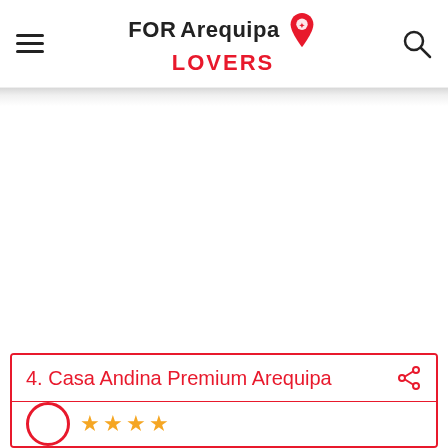FOR Arequipa LOVERS
4. Casa Andina Premium Arequipa